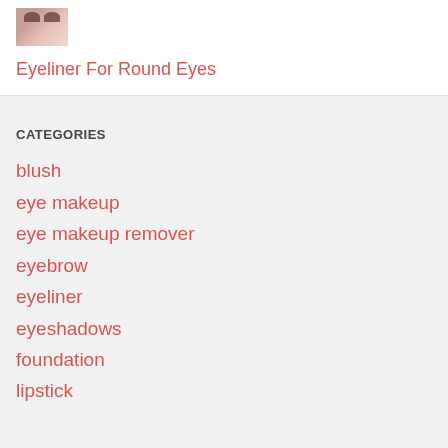[Figure (photo): Small thumbnail image of eyes with makeup]
Eyeliner For Round Eyes
CATEGORIES
blush
eye makeup
eye makeup remover
eyebrow
eyeliner
eyeshadows
foundation
lipstick